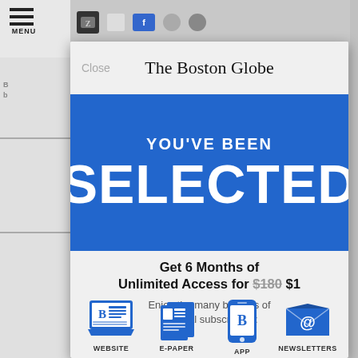[Figure (screenshot): Screenshot of a Boston Globe subscription modal popup on a mobile browser. Background shows a news website with a MENU hamburger icon. The modal has 'Close' button and 'The Boston Globe' masthead in blackletter font. A blue banner reads 'YOU'VE BEEN SELECTED'. Below is offer text: 'Get 6 Months of Unlimited Access for $180 $1' (with $180 strikethrough). Subtitle: 'Enjoy the many benefits of a digital subscription:'. Icons for WEBSITE, E-PAPER, APP, NEWSLETTERS shown at bottom.]